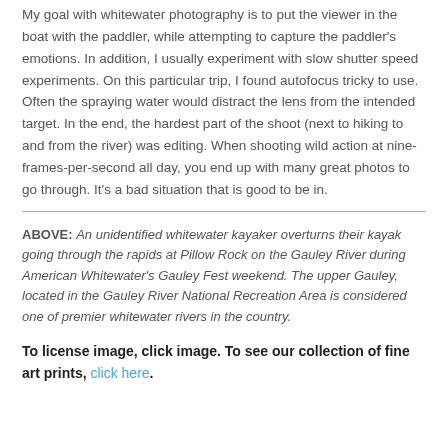My goal with whitewater photography is to put the viewer in the boat with the paddler, while attempting to capture the paddler's emotions. In addition, I usually experiment with slow shutter speed experiments. On this particular trip, I found autofocus tricky to use. Often the spraying water would distract the lens from the intended target. In the end, the hardest part of the shoot (next to hiking to and from the river) was editing. When shooting wild action at nine-frames-per-second all day, you end up with many great photos to go through. It's a bad situation that is good to be in.
ABOVE: An unidentified whitewater kayaker overturns their kayak going through the rapids at Pillow Rock on the Gauley River during American Whitewater's Gauley Fest weekend. The upper Gauley, located in the Gauley River National Recreation Area is considered one of premier whitewater rivers in the country.
To license image, click image. To see our collection of fine art prints, click here.